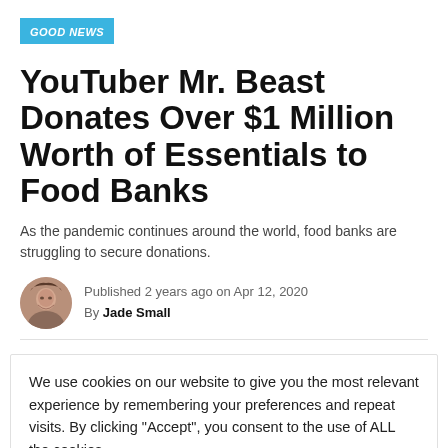GOOD NEWS
YouTuber Mr. Beast Donates Over $1 Million Worth of Essentials to Food Banks
As the pandemic continues around the world, food banks are struggling to secure donations.
Published 2 years ago on Apr 12, 2020
By Jade Small
We use cookies on our website to give you the most relevant experience by remembering your preferences and repeat visits. By clicking “Accept”, you consent to the use of ALL the cookies.
Do not sell my personal information.